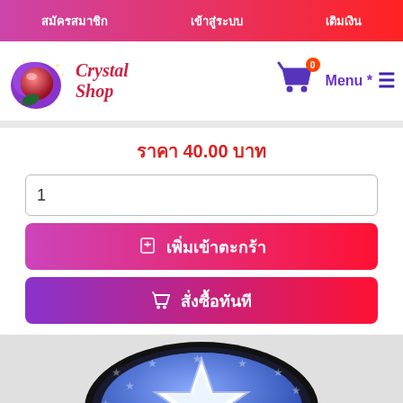สมัครสมาชิก  เข้าสู่ระบบ  เติมเงิน
[Figure (logo): Crystal Shop logo with purple/red crystal ball icon and red italic text 'Crystal Shop']
[Figure (other): Shopping cart icon with badge showing 0, Menu * and hamburger menu icon in purple]
ราคา 40.00 บาท
1
🛍 เพิ่มเข้าตะกร้า
🛒 สั่งซื้อทันที
[Figure (illustration): Blue circular coin/badge with stars pattern and a white 3D star shape in the center, black border ring]